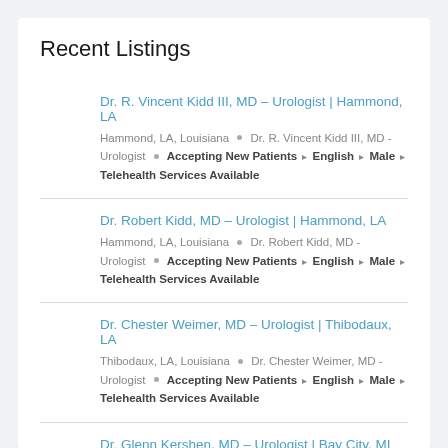Recent Listings
Dr. R. Vincent Kidd III, MD – Urologist | Hammond, LA
Hammond, LA, Louisiana • Dr. R. Vincent Kidd III, MD - Urologist • Accepting New Patients ▸ English ▸ Male ▸ Telehealth Services Available
Dr. Robert Kidd, MD – Urologist | Hammond, LA
Hammond, LA, Louisiana • Dr. Robert Kidd, MD - Urologist • Accepting New Patients ▸ English ▸ Male ▸ Telehealth Services Available
Dr. Chester Weimer, MD – Urologist | Thibodaux, LA
Thibodaux, LA, Louisiana • Dr. Chester Weimer, MD - Urologist • Accepting New Patients ▸ English ▸ Male ▸ Telehealth Services Available
Dr. Glenn Kershen, MD – Urologist | Bay City, MI
Bay City, MI, Michigan • Dr. Glenn Kershen, MD - Urologist •